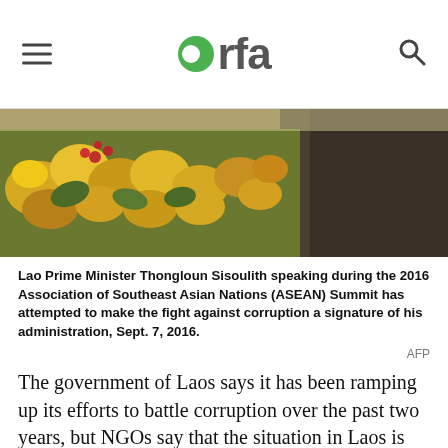RFA
[Figure (photo): Photo of Lao Prime Minister Thongloun Sisoulith speaking during the 2016 ASEAN Summit, with yellow and red flowers visible in the foreground and a man in a dark suit in the background.]
Lao Prime Minister Thongloun Sisoulith speaking during the 2016 Association of Southeast Asian Nations (ASEAN) Summit has attempted to make the fight against corruption a signature of his administration, Sept. 7, 2016.
AFP
The government of Laos says it has been ramping up its efforts to battle corruption over the past two years, but NGOs say that the situation in Laos is getting worse.
Many Lao government officials publicly say that corruption is a huge problem, and have